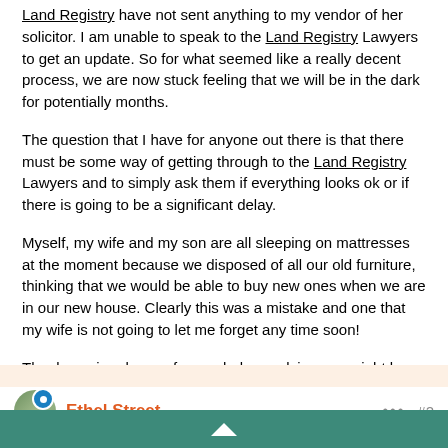Land Registry have not sent anything to my vendor of her solicitor. I am unable to speak to the Land Registry Lawyers to get an update. So for what seemed like a really decent process, we are now stuck feeling that we will be in the dark for potentially months.
The question that I have for anyone out there is that there must be some way of getting through to the Land Registry Lawyers and to simply ask them if everything looks ok or if there is going to be a significant delay.
Myself, my wife and my son are all sleeping on mattresses at the moment because we disposed of all our old furniture, thinking that we would be able to buy new ones when we are in our new house. Clearly this was a mistake and one that my wife is not going to let me forget any time soon!
Thank you in advance for any help or advice you might be able to provide.
Ethel Street #2